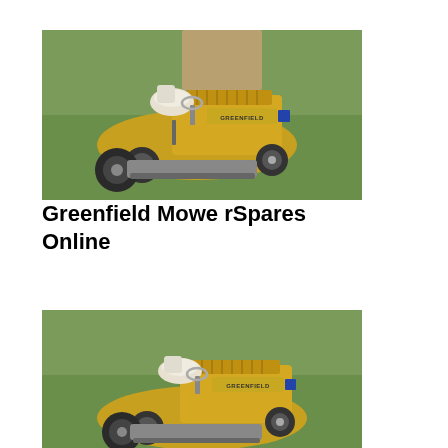[Figure (photo): Yellow Greenfield ride-on lawn mower on green grass, viewed from front-left angle. Mower has white seat, engine cover with GREENFIELD branding, and visible blade deck.]
Greenfield Mowe rSpares Online
[Figure (photo): Same yellow Greenfield ride-on lawn mower on green grass, cropped closer view from front-left angle. Same white seat, GREENFIELD engine cover, and blade deck visible.]